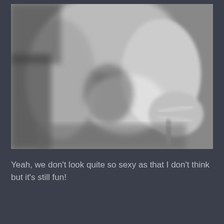[Figure (photo): Black and white photograph showing legs and high-heeled strappy sandals]
Yeah, we don't look quite so sexy as that I don't think but it's still fun!